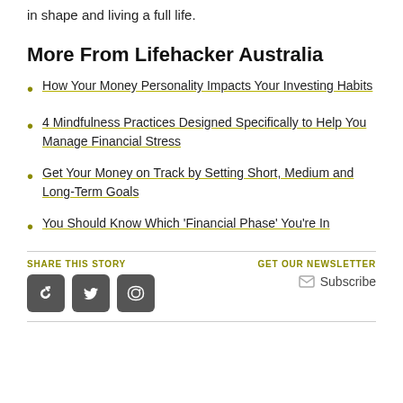in shape and living a full life.
More From Lifehacker Australia
How Your Money Personality Impacts Your Investing Habits
4 Mindfulness Practices Designed Specifically to Help You Manage Financial Stress
Get Your Money on Track by Setting Short, Medium and Long-Term Goals
You Should Know Which 'Financial Phase' You're In
SHARE THIS STORY | GET OUR NEWSLETTER | Subscribe